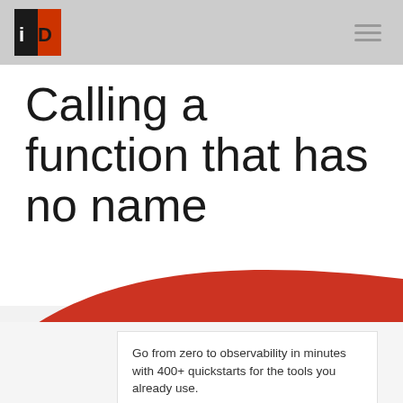iD logo and navigation
Calling a function that has no name
[Figure (illustration): Red swooping wave shape dividing white title area from gray lower section]
Go from zero to observability in minutes with 400+ quickstarts for the tools you already use.
ADS VIA CARBON